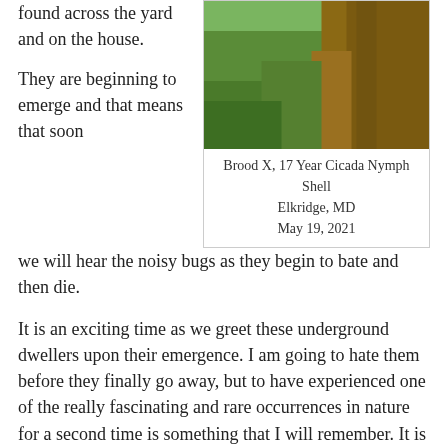found across the yard and on the house.
They are beginning to emerge and that means that soon we will hear the noisy bugs as they begin to bate and then die.
[Figure (photo): Close-up photograph of a cicada nymph shell on tree bark surrounded by grass]
Brood X, 17 Year Cicada Nymph Shell
Elkridge, MD
May 19, 2021
It is an exciting time as we greet these underground dwellers upon their emergence. I am going to hate them before they finally go away, but to have experienced one of the really fascinating and rare occurrences in nature for a second time is something that I will remember. It is not as rare as say, Halley's Comet--but, it will definitely be memorable as these big bugs begin to sing.
With the warmer weather they will are finally emerging.